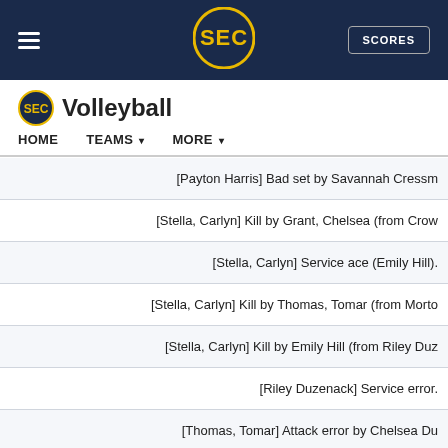SEC Volleyball — HOME | TEAMS | MORE
Volleyball
| Play Description |
| --- |
| [Payton Harris] Bad set by Savannah Cressm |
| [Stella, Carlyn] Kill by Grant, Chelsea (from Crow |
| [Stella, Carlyn] Service ace (Emily Hill). |
| [Stella, Carlyn] Kill by Thomas, Tomar (from Morto |
| [Stella, Carlyn] Kill by Emily Hill (from Riley Duz |
| [Riley Duzenack] Service error. |
| [Thomas, Tomar] Attack error by Chelsea Du |
| [Thomas, Tomar] Kill by Emily Hill (from Riley Du |
| [Emily Hill] Kill by Grant, Chelsea (from Morton, |